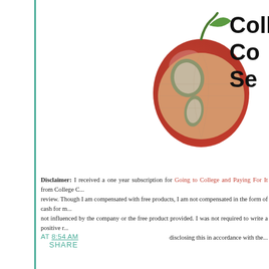[Figure (logo): Apple with globe logo for College Counseling Service, partially cropped on right edge]
Disclaimer: I received a one year subscription for Going to College and Paying For It from College C... review. Though I am compensated with free products, I am not compensated in the form of cash for m... not influenced by the company or the free product provided. I was not required to write a positive r... disclosing this in accordance with the...
AT 8:54 AM
SHARE
WEDNESDAY, FEBRUARY 27, 2013
Wordless Wednesday
[Figure (photo): Photo of educational materials/board game on a blue tray, partially visible]